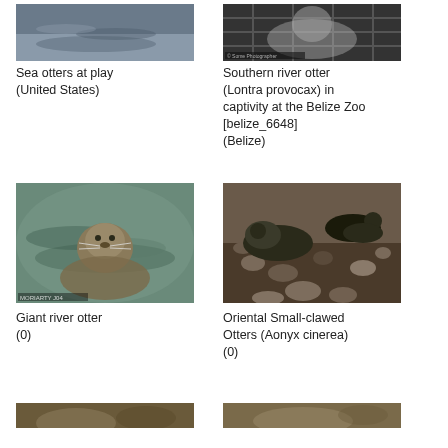[Figure (photo): Sea otters at play in water (United States) - partially cropped at top]
Sea otters at play (United States)
[Figure (photo): Southern river otter (Lontra provocax) in captivity at the Belize Zoo, behind wire mesh (Belize) - partially cropped at top]
Southern river otter (Lontra provocax) in captivity at the Belize Zoo [belize_6648] (Belize)
[Figure (photo): Giant river otter swimming in water with watermark text]
Giant river otter
(0)
[Figure (photo): Oriental Small-clawed Otters (Aonyx cinerea) on rocky/muddy ground]
Oriental Small-clawed Otters (Aonyx cinerea)
(0)
[Figure (photo): Partially visible photo at bottom left]
[Figure (photo): Partially visible photo at bottom right]